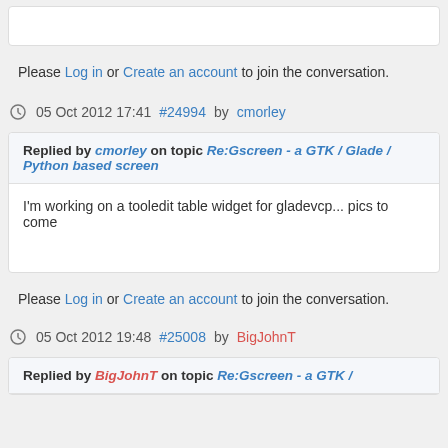Please Log in or Create an account to join the conversation.
05 Oct 2012 17:41 #24994 by cmorley
Replied by cmorley on topic Re:Gscreen - a GTK / Glade / Python based screen
I'm working on a tooledit table widget for gladevcp... pics to come
Please Log in or Create an account to join the conversation.
05 Oct 2012 19:48 #25008 by BigJohnT
Replied by BigJohnT on topic Re:Gscreen - a GTK / Glade / Python based screen